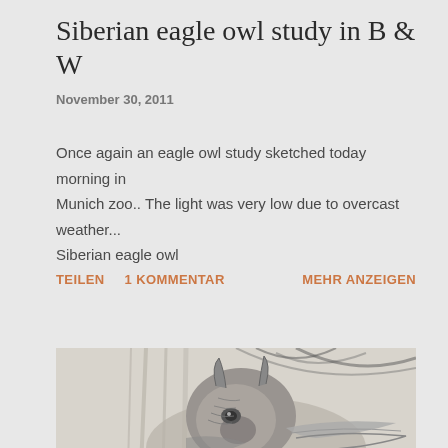Siberian eagle owl study in B & W
November 30, 2011
Once again an eagle owl study sketched today morning in Munich zoo.. The light was very low due to overcast weather... Siberian eagle owl
TEILEN
1 KOMMENTAR
MEHR ANZEIGEN
[Figure (illustration): Black and white pencil sketch of a Siberian eagle owl, showing detailed feather texture and facial features of the bird.]